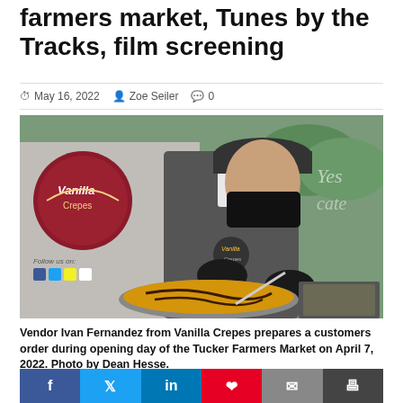farmers market, Tunes by the Tracks, film screening
May 16, 2022   Zoe Seiler   0
[Figure (photo): Vendor Ivan Fernandez from Vanilla Crepes food stand preparing a crepe on a griddle, wearing a black apron, mask, and gloves, at an outdoor market.]
Vendor Ivan Fernandez from Vanilla Crepes prepares a customers order during opening day of the Tucker Farmers Market on April 7, 2022. Photo by Dean Hesse.
[Figure (other): Social media sharing buttons: Facebook, Twitter, LinkedIn, Pinterest, Email, Print]